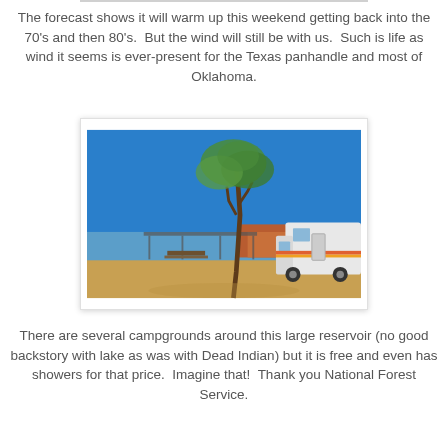The forecast shows it will warm up this weekend getting back into the 70's and then 80's.  But the wind will still be with us.  Such is life as wind it seems is ever-present for the Texas panhandle and most of Oklahoma.
[Figure (photo): A campground scene by a lake with a lone tree and an RV/camper van parked under a blue sky.]
There are several campgrounds around this large reservoir (no good backstory with lake as was with Dead Indian) but it is free and even has showers for that price.  Imagine that!  Thank you National Forest Service.